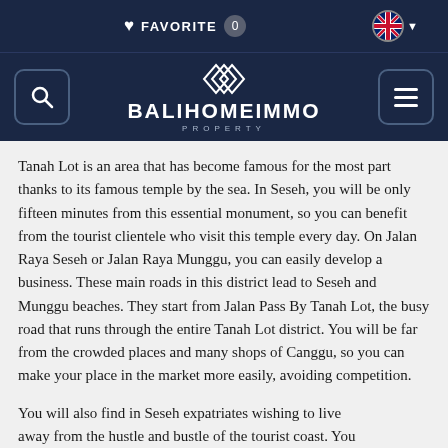FAVORITE 0 [language selector]
[Figure (logo): BaliHomeImmo Property logo with diamond/chevron icon, search button on left, hamburger menu on right, dark navy background]
Tanah Lot is an area that has become famous for the most part thanks to its famous temple by the sea. In Seseh, you will be only fifteen minutes from this essential monument, so you can benefit from the tourist clientele who visit this temple every day. On Jalan Raya Seseh or Jalan Raya Munggu, you can easily develop a business. These main roads in this district lead to Seseh and Munggu beaches. They start from Jalan Pass By Tanah Lot, the busy road that runs through the entire Tanah Lot district. You will be far from the crowded places and many shops of Canggu, so you can make your place in the market more easily, avoiding competition.
You will also find in Seseh expatriates wishing to live away from the hustle and bustle of the tourist coast. You will then be able to benefit from this clientele. If you want to rent offices in a peaceful environment,